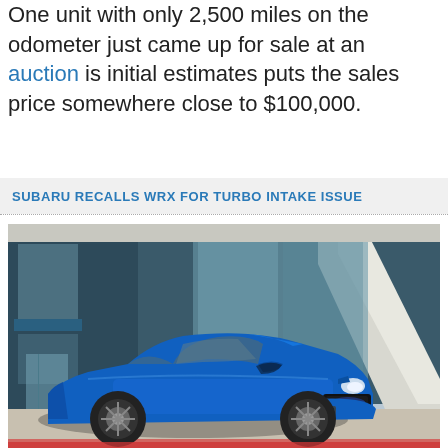One unit with only 2,500 miles on the odometer just came up for sale at an auction is initial estimates puts the sales price somewhere close to $100,000.
SUBARU RECALLS WRX FOR TURBO INTAKE ISSUE
[Figure (photo): Blue Subaru WRX sedan parked in front of a modern building with large windows and white structural columns, photographed from a front three-quarter angle]